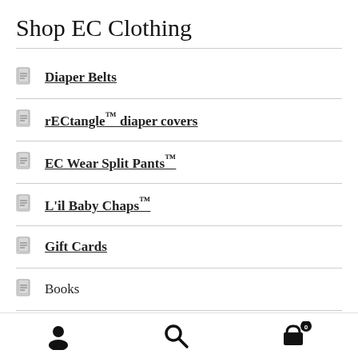Shop EC Clothing
Diaper Belts
rECtangle™ diaper covers
EC Wear Split Pants™
L'il Baby Chaps™
Gift Cards
Books